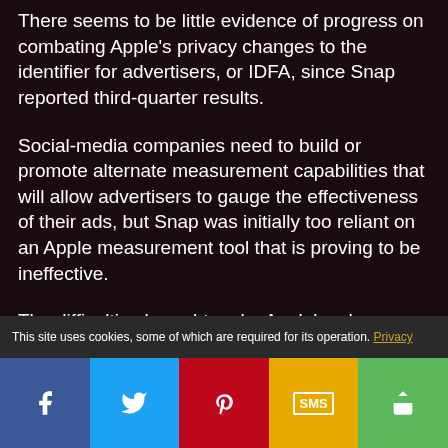There seems to be little evidence of progress on combating Apple's privacy changes to the identifier for advertisers, or IDFA, since Snap reported third-quarter results.
Social-media companies need to build or promote alternate measurement capabilities that will allow advertisers to gauge the effectiveness of their ads, but Snap was initially too reliant on an Apple measurement tool that is proving to be ineffective.
The difficulties brought on by Apple's ad
This site uses cookies, some of which are required for its operation. Privacy